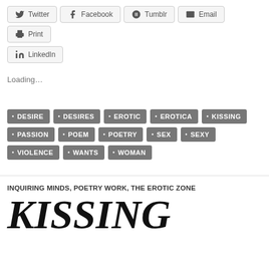[Figure (screenshot): Row of share buttons: Twitter, Facebook, Tumblr, Email, Print]
[Figure (screenshot): LinkedIn share button]
Loading…
DESIRE
DESIRES
EROTIC
EROTICA
KISSING
PASSION
POEM
POETRY
SEX
SEXY
VIOLENCE
WANTS
WOMAN
INQUIRING MINDS, POETRY WORK, THE EROTIC ZONE
KISSING